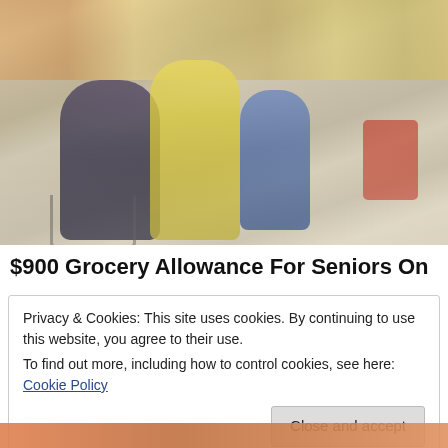[Figure (photo): Faded/washed-out photo of elderly shoppers in a grocery store aisle with shopping carts, colorful store shelves in the background]
$900 Grocery Allowance For Seniors On
Privacy & Cookies: This site uses cookies. By continuing to use this website, you agree to their use.
To find out more, including how to control cookies, see here: Cookie Policy
Close and accept